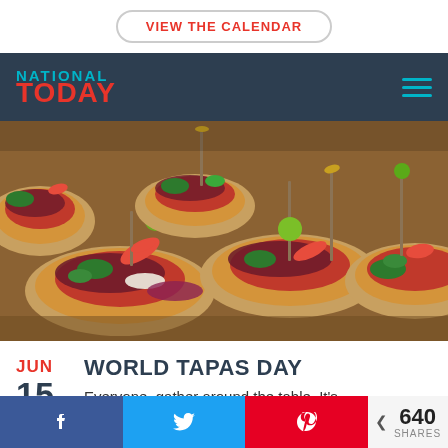VIEW THE CALENDAR
[Figure (logo): National Today logo — NATIONAL in cyan, TODAY in red on dark navy background with hamburger menu icon]
[Figure (photo): Close-up photo of Spanish tapas — bruschetta-style bread topped with cured meats, red peppers, green olives on toothpicks, parsley, and anchovies on a wooden board]
JUN 15
WORLD TAPAS DAY
Everyone, gather around the table. It's
640 SHARES